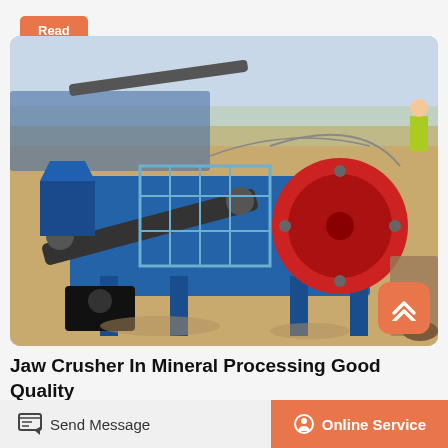Read More
[Figure (photo): Industrial jaw crusher machine in blue color with red flywheel, photographed at a mining or quarry site outdoors. The machine is large with conveyor belts and is set on sandy terrain.]
Jaw Crusher In Mineral Processing Good Quality
Send Message
Online Service